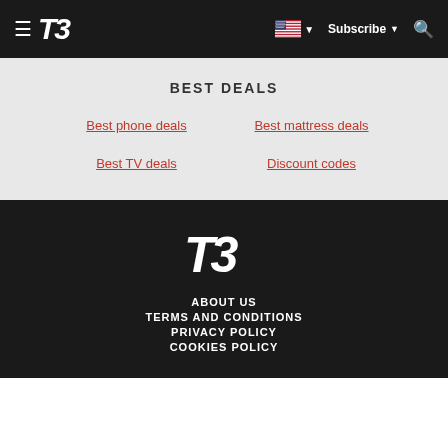T3 — menu, flag/language selector, Subscribe, search
BEST DEALS
Best phone deals
Best mattress deals
Best TV deals
Discount codes
[Figure (logo): T3 logo in white italic bold font on dark background]
ABOUT US
TERMS AND CONDITIONS
PRIVACY POLICY
COOKIES POLICY